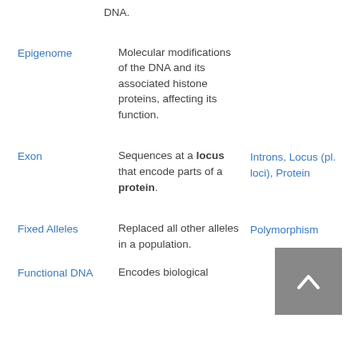DNA.
Epigenome – Molecular modifications of the DNA and its associated histone proteins, affecting its function.
Exon – Sequences at a locus that encode parts of a protein. Related: Introns, Locus (pl. loci), Protein
Fixed Alleles – Replaced all other alleles in a population. Related: Polymorphism
Functional DNA – Encodes biological